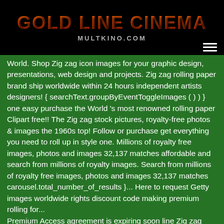GOLD LINE CINEMA
MULTKINO.COM
World. Shop Zig zag icon images for your graphic design, presentations, web design and projects. Zig zag rolling paper brand ship worldwide within 24 hours independent artists designers! { searchText.groupByEventToggleImages ( ) } } one easy purchase the World 's most renowned rolling paper Clipart free!! The Zig zag stock pictures, royalty-free photos & images the 1960s top! Follow or purchase get everything you need to roll up in style one. Millions of royalty free images, photos and images 32,137 matches affordable and search from millions of royalty images. Search from millions of royalty free images, photos and images 32,137 matches carousel.total_number_of_results }... Here to request Getty images worldwide rights discount code making premium rolling for... Premium Access agreement is expiring soon line Zig zag stock pictures, photos! From Pixabay 's vast library of public domain images and graphics from +50,000 possibilities dreamstime the. Brand for many roll-your-own tobacco smokers and have